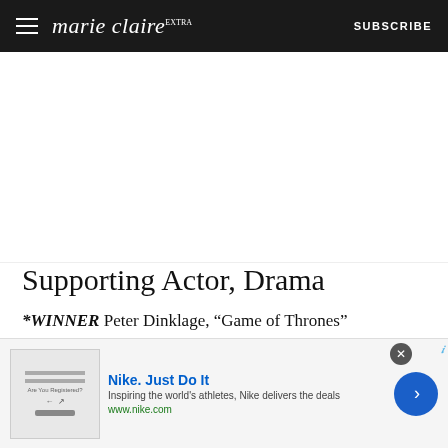marie claire | SUBSCRIBE
[Figure (other): White advertisement placeholder space below the header]
Supporting Actor, Drama
*WINNER Peter Dinklage, “Game of Thrones”
Alfie Allen, “Game Of Thrones”
Jonathan Banks, “Better Call Saul”
Nikolaj Coster-Waldau, “Game of Thrones”
[Figure (other): Nike advertisement banner at bottom: Nike. Just Do It — Inspiring the world's athletes, Nike delivers the deals — www.nike.com]